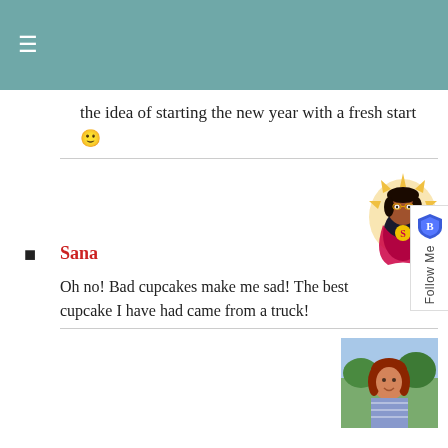≡
the idea of starting the new year with a fresh start 🙂
Sana
Oh no! Bad cupcakes make me sad! The best cupcake I have had came from a truck!
Lauren
I feel like a lot of thai restaurants make their curries with fish sauce – some of them put it on their menus, others don't. Good thing you asked!
I just wrote up a draft for my resolutions, and I'm so